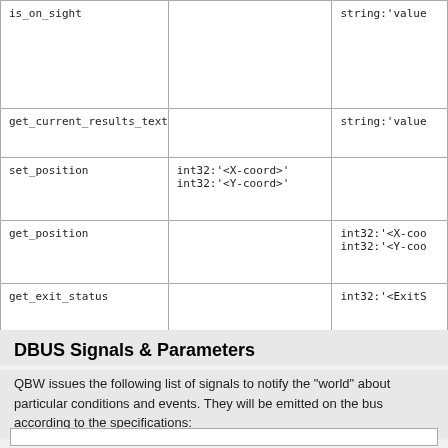| Method | Parameters | Returns |
| --- | --- | --- |
| is_on_sight |  | string:'value... |
| get_current_results_text |  | string:'value... |
| set_position | int32:'<X-coord>'
int32:'<Y-coord>' |  |
| get_position |  | int32:'<X-coo...
int32:'<Y-coo... |
| get_exit_status |  | int32:'<ExitS... |
DBUS Signals & Parameters
QBW issues the following list of signals to notify the "world" about particular conditions and events. They will be emitted on the bus according to the specifications: